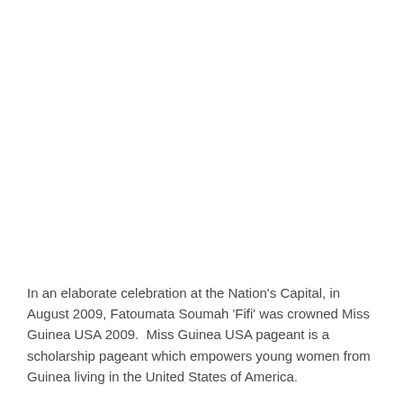In an elaborate celebration at the Nation's Capital, in August 2009, Fatoumata Soumah 'Fifi' was crowned Miss Guinea USA 2009.  Miss Guinea USA pageant is a scholarship pageant which empowers young women from Guinea living in the United States of America.